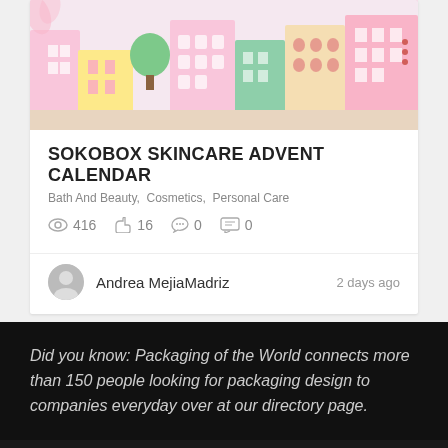[Figure (illustration): Colorful illustrated city scene with buildings, trees, and people in a flat design style with pastel colors]
SOKOBOX SKINCARE ADVENT CALENDAR
Bath And Beauty,  Cosmetics,  Personal Care
416 views  16 likes  0 shares  0 comments
Andrea MejiaMadriz   2 days ago
Did you know: Packaging of the World connects more than 150 people looking for packaging design to companies everyday over at our directory page.
[Figure (logo): PACKAGING OF THE WORLD logo in white on dark background]